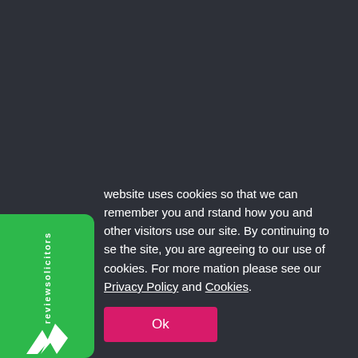[Figure (logo): ReviewSolicitors green sidebar badge with logo and vertical text 'reviewsolicitors']
website uses cookies so that we can remember you and rstand how you and other visitors use our site. By continuing to se the site, you are agreeing to our use of cookies. For more mation please see our Privacy Policy and Cookies.
Ok